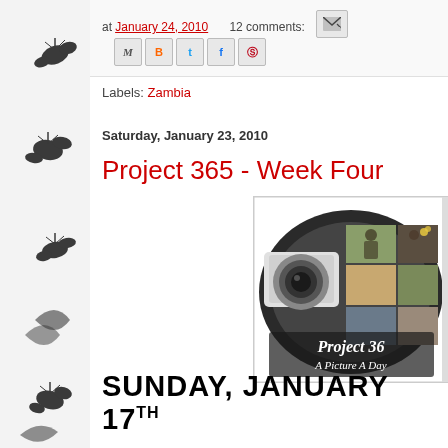[Figure (illustration): Decorative left sidebar with black and white bug/floral pattern on light grey background]
at January 24, 2010   12 comments:
Labels: Zambia
Saturday, January 23, 2010
Project 365 - Week Four
[Figure (photo): Project 365 'A Picture A Day' badge/logo — circular camera lens design with photo collage of people and scenes, text reads 'Project 365 A Picture A Day']
SUNDAY, JANUARY 17TH